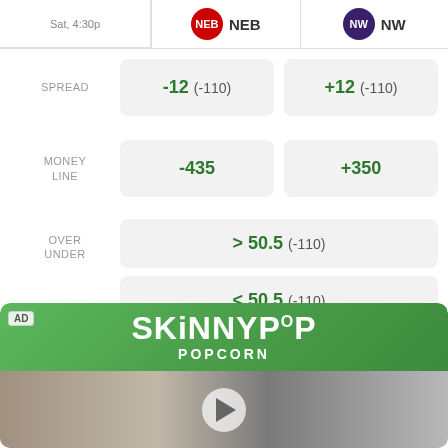|  | NEB | NW |
| --- | --- | --- |
| SPREAD | -12 (-110) | +12 (-110) |
| MONEY LINE | -435 | +350 |
| OVER UNDER | > 50.5 (-110) / < 50.5 (-110) |  |
Odds/Lines subject to change. See draftkings.com for details.
[Figure (photo): SkinnyPop Popcorn advertisement with green banner logo and a man holding a SkinnyPop popcorn bag, with a video play button overlay]